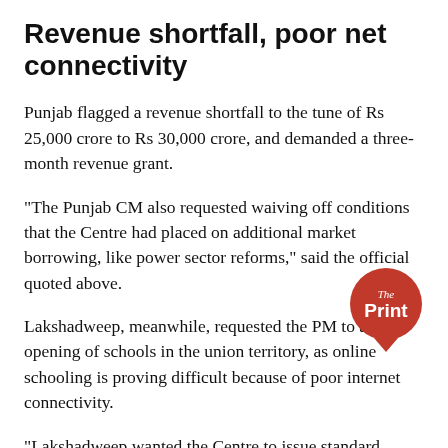Revenue shortfall, poor net connectivity
Punjab flagged a revenue shortfall to the tune of Rs 25,000 crore to Rs 30,000 crore, and demanded a three-month revenue grant.
“The Punjab CM also requested waiving off conditions that the Centre had placed on additional market borrowing, like power sector reforms,” said the official quoted above.
Lakshadweep, meanwhile, requested the PM to allow opening of schools in the union territory, as online schooling is proving difficult because of poor internet connectivity.
“Lakshadweep wanted the Centre to issue standard